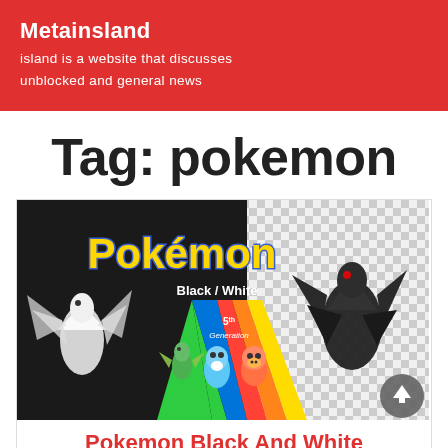Metainsland
island is a website that discusses unblocked and general news
Tag: pokemon
[Figure (screenshot): Pokemon Black and White game promotional image showing the Pokemon logo with 'Black / White' subtitle, featuring the 5th generation Pokemon characters including Reshiram (white dragon), Zekrom (black dragon), and the Gen 5 starters Snivy, Oshawott, and Tepig against a colorful striped background.]
Pokemon Black And White